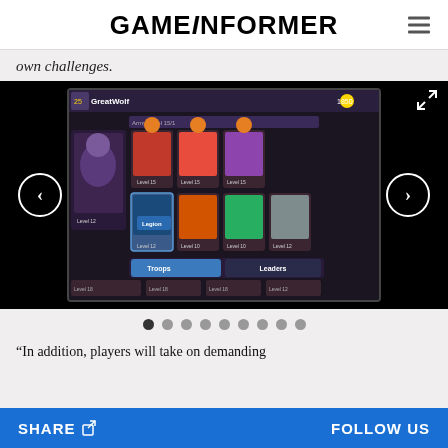GAMEINFORMER
own challenges.
[Figure (screenshot): Mobile game screenshot showing GreatWolf player interface with troops and leaders selection screen, displaying character cards at various levels]
“In addition, players will take on demanding
SHARE   FOLLOW US